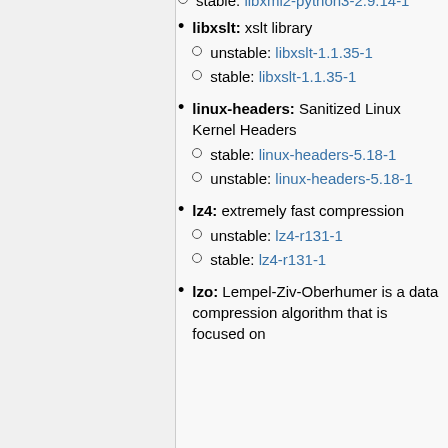stable: libxml2-python3-2.9.14-1
libxslt: xslt library
  unstable: libxslt-1.1.35-1
  stable: libxslt-1.1.35-1
linux-headers: Sanitized Linux Kernel Headers
  stable: linux-headers-5.18-1
  unstable: linux-headers-5.18-1
lz4: extremely fast compression
  unstable: lz4-r131-1
  stable: lz4-r131-1
lzo: Lempel-Ziv-Oberhumer is a data compression algorithm that is focused on